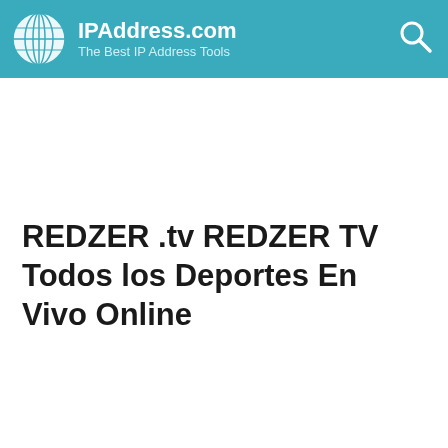IPAddress.com — The Best IP Address Tools
REDZER .tv REDZER TV Todos los Deportes En Vivo Online